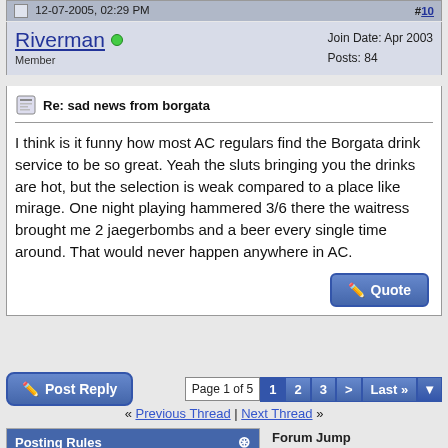12-07-2005, 02:29 PM  #10
Riverman  Member  Join Date: Apr 2003  Posts: 84
Re: sad news from borgata
I think is it funny how most AC regulars find the Borgata drink service to be so great. Yeah the sluts bringing you the drinks are hot, but the selection is weak compared to a place like mirage. One night playing hammered 3/6 there the waitress brought me 2 jaegerbombs and a beer every single time around. That would never happen anywhere in AC.
Post Reply  Page 1 of 5  1  2  3  >  Last »
« Previous Thread | Next Thread »
Posting Rules
You may not post new threads
You may not post replies
You may not post attachments
You may not edit your posts
BB code is On
Smilies are On
[IMG] code is On
HTML code is Off
Forum Jump